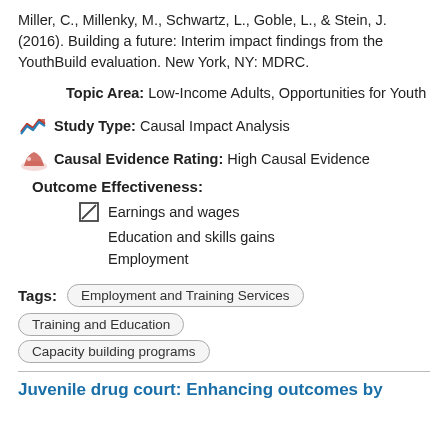Miller, C., Millenky, M., Schwartz, L., Goble, L., & Stein, J. (2016). Building a future: Interim impact findings from the YouthBuild evaluation. New York, NY: MDRC.
Topic Area: Low-Income Adults, Opportunities for Youth
Study Type: Causal Impact Analysis
Causal Evidence Rating: High Causal Evidence
Outcome Effectiveness:
Earnings and wages
Education and skills gains
Employment
Tags: Employment and Training Services | Training and Education | Capacity building programs
Juvenile drug court: Enhancing outcomes by